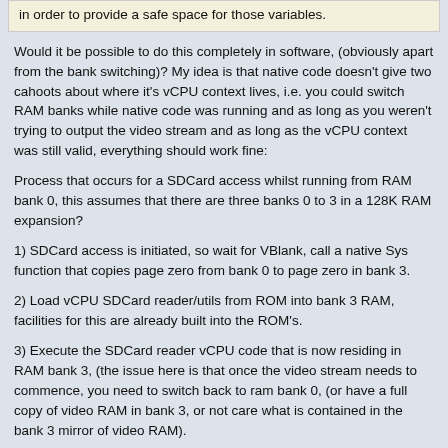in order to provide a safe space for those variables.
Would it be possible to do this completely in software, (obviously apart from the bank switching)? My idea is that native code doesn't give two cahoots about where it's vCPU context lives, i.e. you could switch RAM banks while native code was running and as long as you weren't trying to output the video stream and as long as the vCPU context was still valid, everything should work fine:
Process that occurs for a SDCard access whilst running from RAM bank 0, this assumes that there are three banks 0 to 3 in a 128K RAM expansion?
1) SDCard access is initiated, so wait for VBlank, call a native Sys function that copies page zero from bank 0 to page zero in bank 3.
2) Load vCPU SDCard reader/utils from ROM into bank 3 RAM, facilities for this are already built into the ROM's.
3) Execute the SDCard reader vCPU code that is now residing in RAM bank 3, (the issue here is that once the video stream needs to commence, you need to switch back to ram bank 0, (or have a full copy of video RAM in bank 3, or not care what is contained in the bank 3 mirror of video RAM).